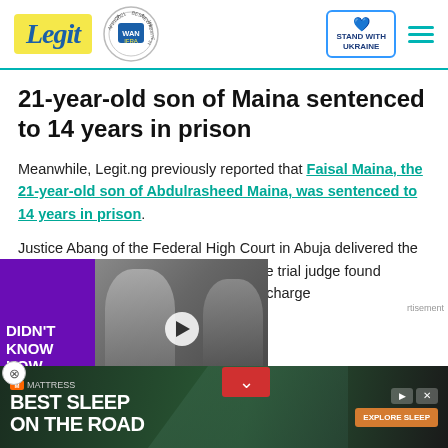Legit — Best News Website in Africa 2021 (WAN IFRA) — Stand With Ukraine
21-year-old son of Maina sentenced to 14 years in prison
Meanwhile, Legit.ng previously reported that Faisal Maina, the 21-year-old son of Abdulrasheed Maina, was sentenced to 14 years in prison.
Justice Abang of the Federal High Court in Abuja delivered the judgement on Thursday, October 7. The trial judge found the money laundering charge [EFCC]
[Figure (screenshot): Video advertisement overlay with purple background text 'DIDN'T KNOW HOW TO LOVE' and video thumbnail of two people]
[Figure (screenshot): Bottom banner advertisement: Mattress Firm - BEST SLEEP ON THE ROAD with EXPLORE SLEEP button]